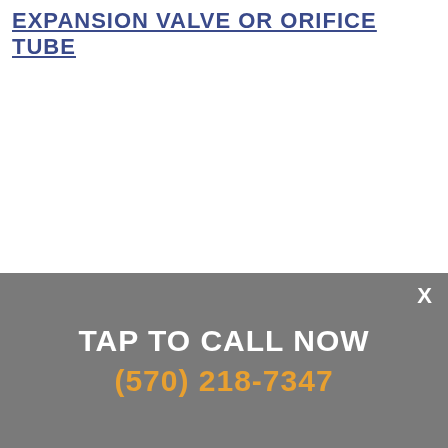EXPANSION VALVE OR ORIFICE TUBE
TAP TO CALL NOW
(570) 218-7347